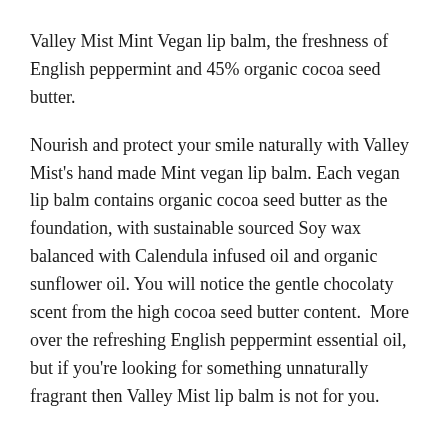Valley Mist Mint Vegan lip balm, the freshness of English peppermint and 45% organic cocoa seed butter.
Nourish and protect your smile naturally with Valley Mist's hand made Mint vegan lip balm. Each vegan lip balm contains organic cocoa seed butter as the foundation, with sustainable sourced Soy wax balanced with Calendula infused oil and organic sunflower oil. You will notice the gentle chocolaty scent from the high cocoa seed butter content.  More over the refreshing English peppermint essential oil, but if you're looking for something unnaturally fragrant then Valley Mist lip balm is not for you.